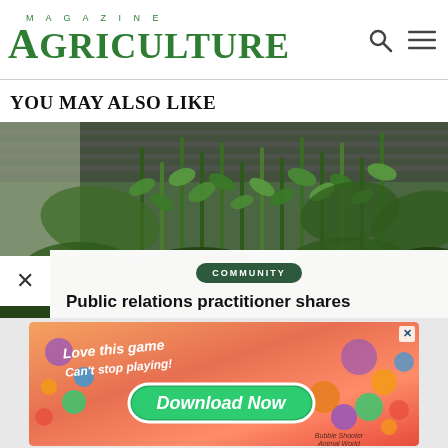MAGAZINE AGRICULTURE
YOU MAY ALSO LIKE
[Figure (photo): Green plants and shrubs growing outdoors near a building with metal grating in the background, overlaid with a community article card showing a 'COMMUNITY' tag and the title 'Public relations practitioner shares']
[Figure (photo): Advertisement banner with orange/warm gradient background showing game ad with text 'Love this game Can't stop playing!', 'Download Now' button, colorful game icons, and 'Bubble Shooter Animal World' watermark]